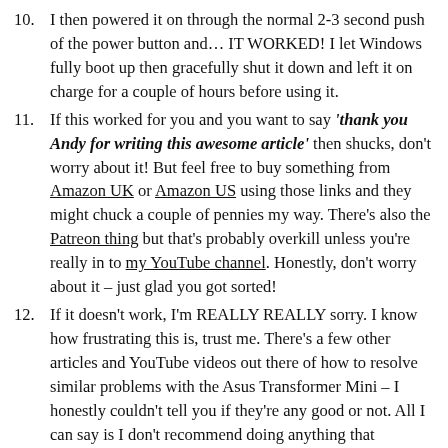10. I then powered it on through the normal 2-3 second push of the power button and… IT WORKED! I let Windows fully boot up then gracefully shut it down and left it on charge for a couple of hours before using it.
11. If this worked for you and you want to say 'thank you Andy for writing this awesome article' then shucks, don't worry about it! But feel free to buy something from Amazon UK or Amazon US using those links and they might chuck a couple of pennies my way. There's also the Patreon thing but that's probably overkill unless you're really in to my YouTube channel. Honestly, don't worry about it – just glad you got sorted!
12. If it doesn't work, I'm REALLY REALLY sorry. I know how frustrating this is, trust me. There's a few other articles and YouTube videos out there of how to resolve similar problems with the Asus Transformer Mini – I honestly couldn't tell you if they're any good or not. All I can say is I don't recommend doing anything that invalidates your